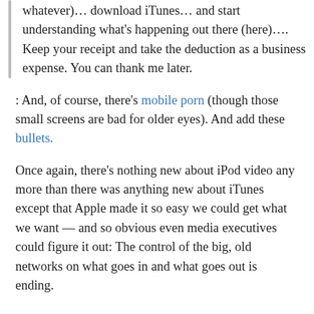whatever)… download iTunes… and start understanding what's happening out there (here)…. Keep your receipt and take the deduction as a business expense. You can thank me later.
: And, of course, there's mobile porn (though those small screens are bad for older eyes). And add these bullets.
Once again, there's nothing new about iPod video any more than there was anything new about iTunes except that Apple made it so easy we could get what we want — and so obvious even media executives could figure it out: The control of the big, old networks on what goes in and what goes out is ending.